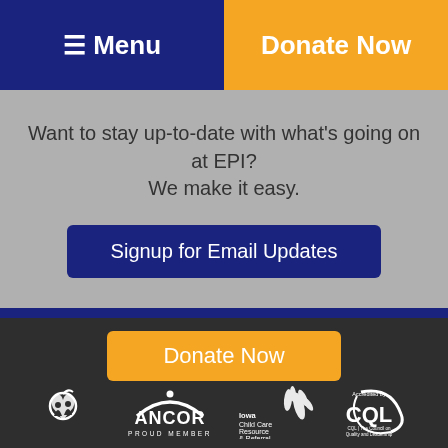☰ Menu | Donate Now
Want to stay up-to-date with what's going on at EPI? We make it easy.
Signup for Email Updates
Donate Now
[Figure (logo): Four organization logos: EPI heart/apple logo, ANCOR Proud Member logo, Iowa Child Care Resource & Referral logo, CQL The Council on Quality and Leadership logo]